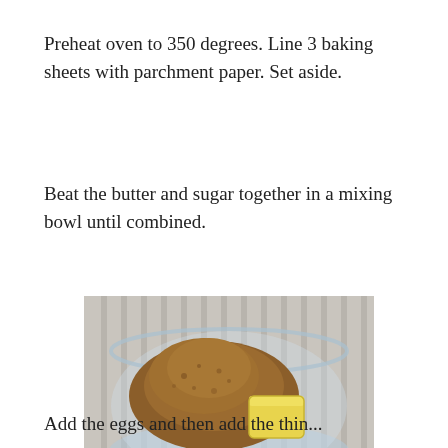Preheat oven to 350 degrees. Line 3 baking sheets with parchment paper. Set aside.
Beat the butter and sugar together in a mixing bowl until combined.
[Figure (photo): A glass mixing bowl containing a mound of brown sugar and a block of yellow butter, placed on a striped cloth surface.]
Add the eggs and then add the thin...